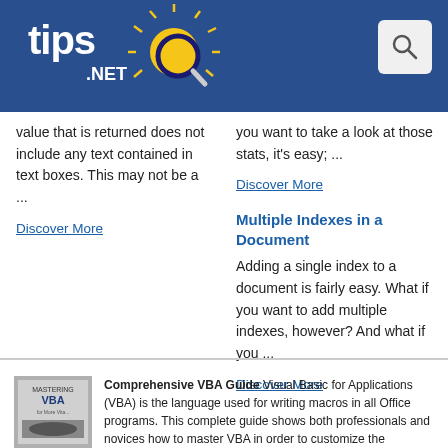[Figure (logo): tips.NET logo with sun graphic on blue header bar with search icon]
value that is returned does not include any text contained in text boxes. This may not be a ...
Discover More
you want to take a look at those stats, it's easy; ...
Discover More
Multiple Indexes in a Document
Adding a single index to a document is fairly easy. What if you want to add multiple indexes, however? And what if you ...
Discover More
[Figure (photo): Book cover for Mastering VBA guide]
Comprehensive VBA Guide Visual Basic for Applications (VBA) is the language used for writing macros in all Office programs. This complete guide shows both professionals and novices how to master VBA in order to customize the